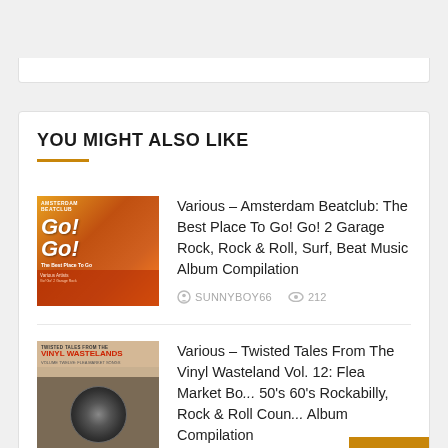YOU MIGHT ALSO LIKE
Various – Amsterdam Beatclub: The Best Place To Go! Go! 2 Garage Rock, Rock & Roll, Surf, Beat Music Album Compilation | SUNNYBOY66 | 212
Various – Twisted Tales From The Vinyl Wasteland Vol. 12: Flea Market Bo... 50's 60's Rockabilly, Rock & Roll Coun... Album Compilation